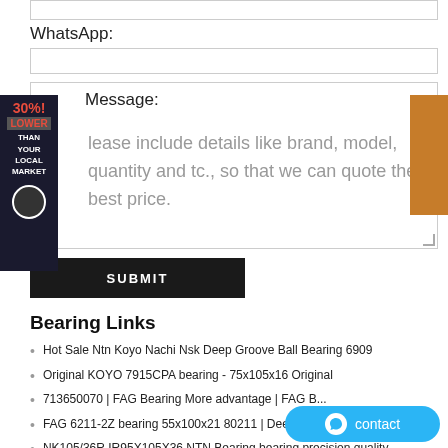WhatsApp:
Message:
Please include details like brand, model, quantity and etc., so that we can quote the best price.
SUBMIT
Bearing Links
Hot Sale Ntn Koyo Nachi Nsk Deep Groove Ball Bearing 6909
Original KOYO 7915CPA bearing - 75x105x16 Original
713650070 | FAG Bearing More advantage | FAG...
FAG 6211-2Z bearing 55x100x21 80211 | Deep Gro...
NK105/36R IR95X105X36 NTN Bearing bearing precision quality